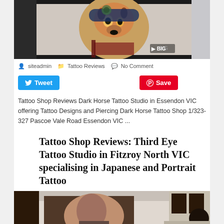[Figure (photo): Framed artwork/illustration of a fox wearing a hat with decorative elements, displayed on a wall]
siteadmin   Tattoo Reviews   No Comment
[Figure (other): Social sharing buttons: Tweet (blue) and Save (red Pinterest)]
Tattoo Shop Reviews Dark Horse Tattoo Studio in Essendon VIC offering Tattoo Designs and Piercing Dark Horse Tattoo Shop 1/323-327 Pascoe Vale Road Essendon VIC ...
Tattoo Shop Reviews: Third Eye Tattoo Studio in Fitzroy North VIC specialising in Japanese and Portrait Tattoo
[Figure (photo): Photo of a tattoo artist working, seen from behind, in a tattoo studio environment]